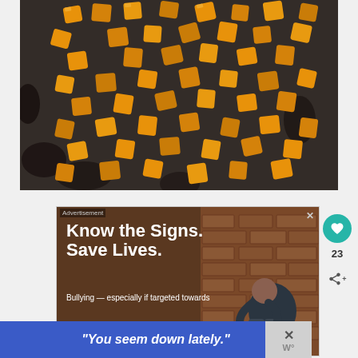[Figure (photo): Overhead view of roasted orange/yellow squash cubes scattered on a dark baking sheet]
[Figure (screenshot): Advertisement with dark background showing a person hunched against a brick wall. Text reads 'Know the Signs. Save Lives.' with subtext 'Bullying — especially if targeted towards'. Small 'Advertisement' label at top and close button.]
[Figure (infographic): Blue banner at the bottom reading '"You seem down lately."' with a close/X button on the right side]
23